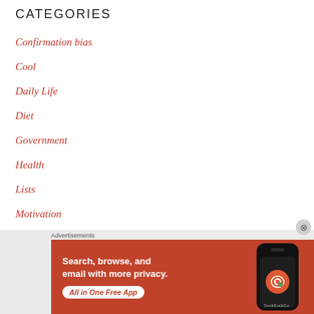CATEGORIES
Confirmation bias
Cool
Daily Life
Diet
Government
Health
Lists
Motivation
Politics
Solving the wrong problem
Travel
[Figure (photo): DuckDuckGo advertisement banner: orange background with text 'Search, browse, and email with more privacy. All in One Free App' and image of a smartphone showing DuckDuckGo app]
Advertisements